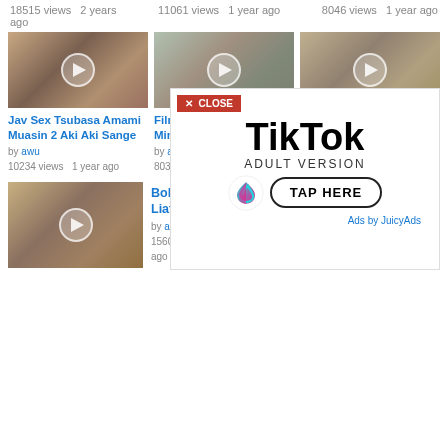18515 views   2 years ago    11061 views   1 year ago    8046 views   1 year ago
[Figure (screenshot): Video thumbnail 1 - room scene]
[Figure (screenshot): Video thumbnail 2 - bedroom scene]
[Figure (screenshot): Video thumbnail 3 - close up scene]
Jav Sex Tsubasa Amami Muasin 2 Aki Aki Sange
Film Jav Mertua Mesum Minta Jatah Ke
Jav Hot Tsubasa Amami Dicabuli Mertua Sub
by awu
10234 views   1 year ago
by awu
8035 views   1 year ago
by awu
11449 views   1 year ago
[Figure (screenshot): Video thumbnail 4 - kitchen scene]
Bokep JAV HD Sange Liat Cewek
by awu
15608 views   ago
[Figure (advertisement): TikTok Adult Version ad overlay with close button, TikTok logo, ADULT VERSION text, and TAP HERE button]
Ads by JuicyAds